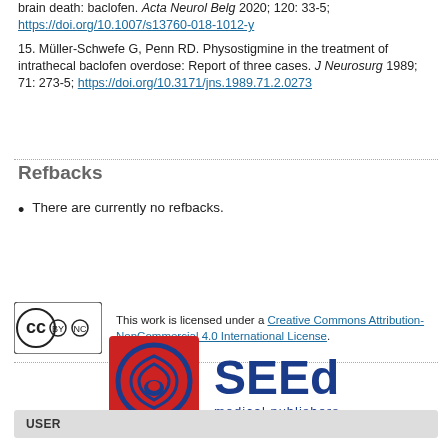brain death: baclofen. Acta Neurol Belg 2020; 120: 33-5; https://doi.org/10.1007/s13760-018-1012-y
15. Müller-Schwefe G, Penn RD. Physostigmine in the treatment of intrathecal baclofen overdose: Report of three cases. J Neurosurg 1989; 71: 273-5; https://doi.org/10.3171/jns.1989.71.2.0273
Refbacks
There are currently no refbacks.
This work is licensed under a Creative Commons Attribution-NonCommercial 4.0 International License.
[Figure (logo): SEEd medical publishers logo with red square background and blue circular emblem]
USER